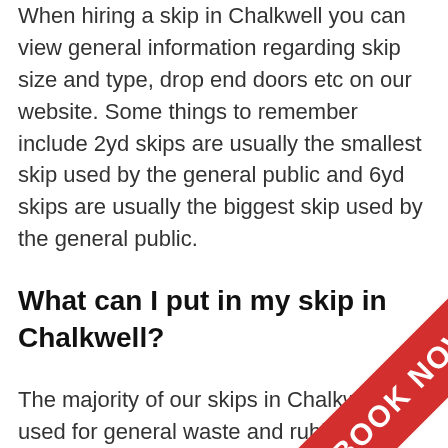When hiring a skip in Chalkwell you can view general information regarding skip size and type, drop end doors etc on our website. Some things to remember include 2yd skips are usually the smallest skip used by the general public and 6yd skips are usually the biggest skip used by the general public.
What can I put in my skip in Chalkwell?
The majority of our skips in Chalkwell are used for general waste and rubbish, arising from various projects including household renovations and maintenance, household clear-outs, garage clear-outs, garden clear... event waste containment. All items... a non-liquid/non-hazardous wa...